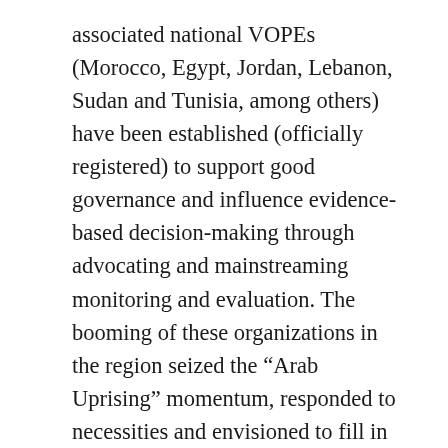associated national VOPEs (Morocco, Egypt, Jordan, Lebanon, Sudan and Tunisia, among others) have been established (officially registered) to support good governance and influence evidence-based decision-making through advocating and mainstreaming monitoring and evaluation. The booming of these organizations in the region seized the “Arab Uprising” momentum, responded to necessities and envisioned to fill in gaps – same gaps identified above – which were for long undermined. Over the last 4 years, evaluation has been recognized widely in the MENA region and has earned a broader visibility and greater emphasis by various development stakeholders – primarily among governments,